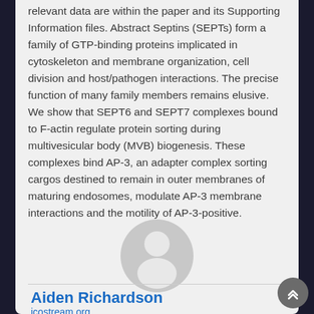relevant data are within the paper and its Supporting Information files. Abstract Septins (SEPTs) form a family of GTP-binding proteins implicated in cytoskeleton and membrane organization, cell division and host/pathogen interactions. The precise function of many family members remains elusive. We show that SEPT6 and SEPT7 complexes bound to F-actin regulate protein sorting during multivesicular body (MVB) biogenesis. These complexes bind AP-3, an adapter complex sorting cargos destined to remain in outer membranes of maturing endosomes, modulate AP-3 membrane interactions and the motility of AP-3-positive.
[Figure (illustration): Gray circular avatar/profile placeholder icon showing a silhouette of a person (head and shoulders)]
Aiden Richardson
icostream.org